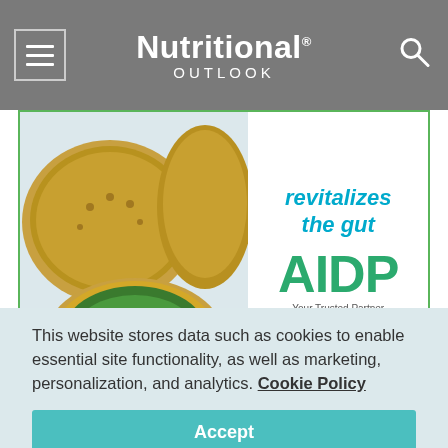Nutritional OUTLOOK
[Figure (illustration): Advertisement banner for AIDP showing kiwi fruit on the left and text 'revitalizes the gut' with AIDP logo, 'Your Trusted Partner', and 'aidp.com' on the right, with a green border.]
This website stores data such as cookies to enable essential site functionality, as well as marketing, personalization, and analytics. Cookie Policy
Accept
Deny